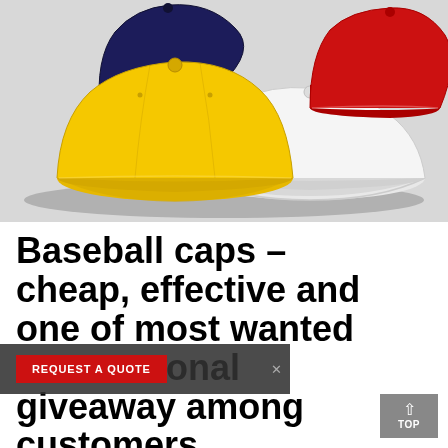[Figure (photo): Four baseball caps arranged together on a grey background: navy blue (top left), red (top right), yellow (front left), white (front right).]
Baseball caps – cheap, effective and one of most wanted promotional giveaway among customers
REQUEST A QUOTE